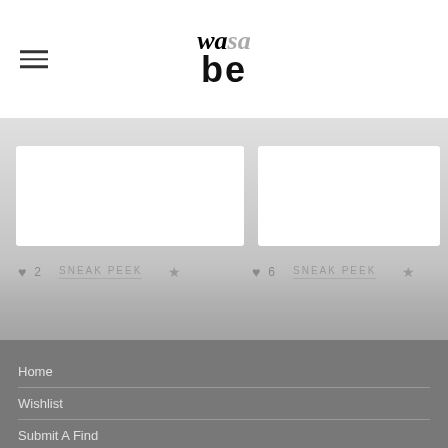[Figure (logo): wabesa.com logo — stylized text with 'wa' in bold italic black, 'sa' in italic gray, 'be' in bold large black]
[Figure (screenshot): Two product cards with sneak peek labels, heart counts (2 and 6), star icons, on a light gray foggy background]
Home
Wishlist
Submit A Find
© 2022 wabesa.com. All rights reserved.